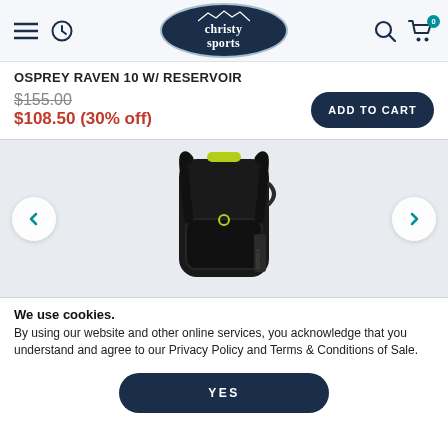[Figure (logo): Christy Sports logo in dark navy oval with mountain graphic]
OSPREY RAVEN 10 W/ RESERVOIR
$155.00 (strikethrough) $108.50 (30% off)
[Figure (photo): Black Osprey Raven 10 hydration backpack with yellow-green accents, shown from the side/front angle]
We use cookies. By using our website and other online services, you acknowledge that you understand and agree to our Privacy Policy and Terms & Conditions of Sale.